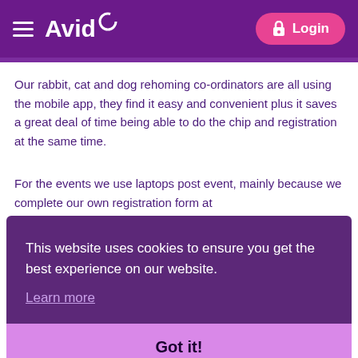Avid | Login
Our rabbit, cat and dog rehoming co-ordinators are all using the mobile app, they find it easy and convenient plus it saves a great deal of time being able to do the chip and registration at the same time.
For the events we use laptops post event, mainly because we complete our own registration form at the...
This website uses cookies to ensure you get the best experience on our website. Learn more
Got it!